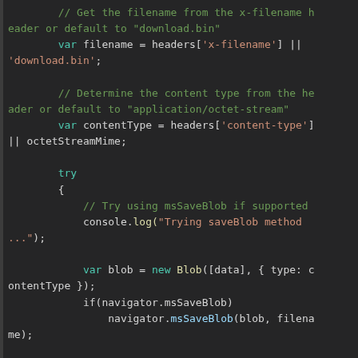[Figure (screenshot): Code editor screenshot showing JavaScript code snippet. The code retrieves a filename from x-filename header (defaulting to 'download.bin'), determines content type from header (defaulting to octetStreamMime), then uses a try block to attempt saving a Blob via navigator.msSaveBlob, with an else branch for other methods.]